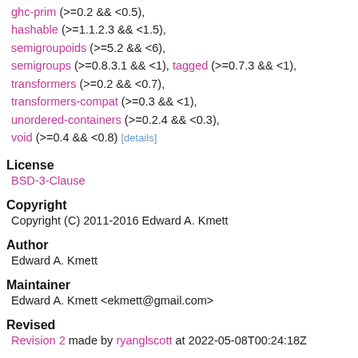ghc-prim (>=0.2 && <0.5), hashable (>=1.1.2.3 && <1.5), semigroupoids (>=5.2 && <6), semigroups (>=0.8.3.1 && <1), tagged (>=0.7.3 && <1), transformers (>=0.2 && <0.7), transformers-compat (>=0.3 && <1), unordered-containers (>=0.2.4 && <0.3), void (>=0.4 && <0.8) [details]
License
BSD-3-Clause
Copyright
Copyright (C) 2011-2016 Edward A. Kmett
Author
Edward A. Kmett
Maintainer
Edward A. Kmett <ekmett@gmail.com>
Revised
Revision 2 made by ryanglscott at 2022-05-08T00:24:18Z